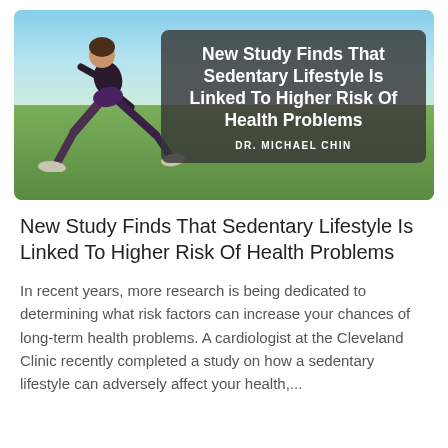[Figure (photo): Hero image of a woman doing a lunge exercise outdoors on a grassy field with a blue sky background. A dark semi-transparent overlay box contains the article title and author name in white text.]
New Study Finds That Sedentary Lifestyle Is Linked To Higher Risk Of Health Problems
In recent years, more research is being dedicated to determining what risk factors can increase your chances of long-term health problems. A cardiologist at the Cleveland Clinic recently completed a study on how a sedentary lifestyle can adversely affect your health,...